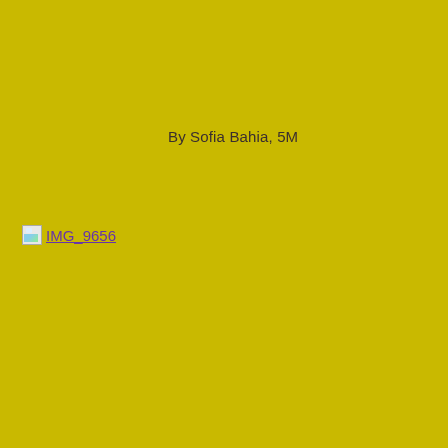By Sofia Bahia, 5M
[Figure (photo): Broken/missing image placeholder labeled IMG_9656]